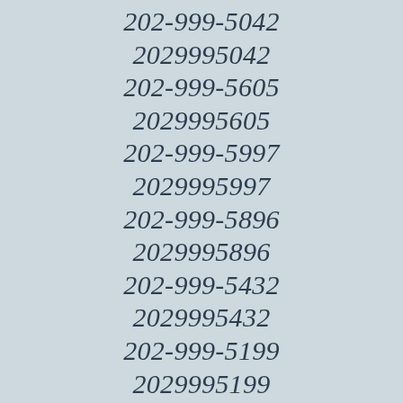202-999-5042
2029995042
202-999-5605
2029995605
202-999-5997
2029995997
202-999-5896
2029995896
202-999-5432
2029995432
202-999-5199
2029995199
202-999-5219
2029995219
202-999-5441
2029995441